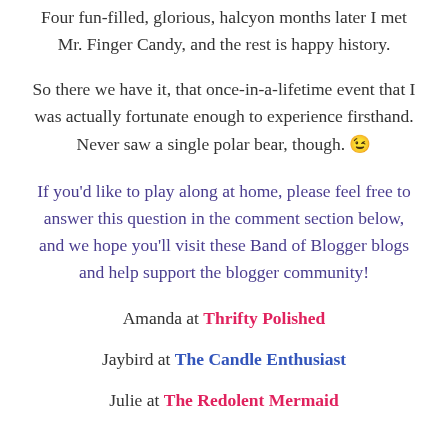Four fun-filled, glorious, halcyon months later I met Mr. Finger Candy, and the rest is happy history.
So there we have it, that once-in-a-lifetime event that I was actually fortunate enough to experience firsthand. Never saw a single polar bear, though. 😉
If you'd like to play along at home, please feel free to answer this question in the comment section below, and we hope you'll visit these Band of Blogger blogs and help support the blogger community!
Amanda at Thrifty Polished
Jaybird at The Candle Enthusiast
Julie at The Redolent Mermaid